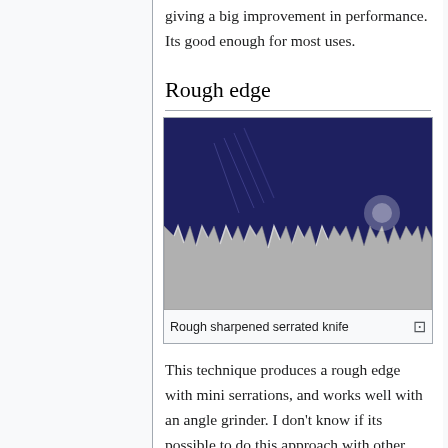giving a big improvement in performance. Its good enough for most uses.
Rough edge
[Figure (photo): Close-up photo of a rough sharpened serrated knife blade, showing jagged mini serrations along the edge against a dark blue background.]
Rough sharpened serrated knife
This technique produces a rough edge with mini serrations, and works well with an angle grinder. I don't know if its possible to do this approach with other grinding tools. The blade is sharpened as normal, but its moved over the grinder disc as quickly as can be done safely,